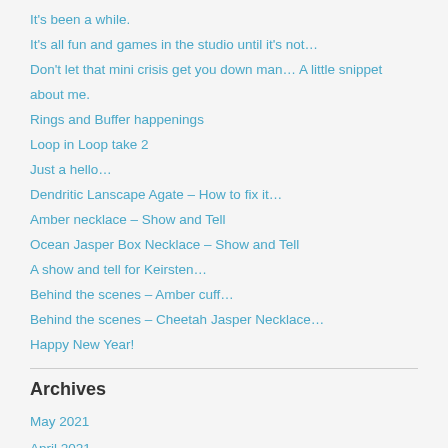It's been a while.
It's all fun and games in the studio until it's not…
Don't let that mini crisis get you down man… A little snippet about me.
Rings and Buffer happenings
Loop in Loop take 2
Just a hello…
Dendritic Lanscape Agate – How to fix it…
Amber necklace – Show and Tell
Ocean Jasper Box Necklace – Show and Tell
A show and tell for Keirsten…
Behind the scenes – Amber cuff…
Behind the scenes – Cheetah Jasper Necklace…
Happy New Year!
Archives
May 2021
April 2021
January 2021
January 2020
December 2019
September 2019
May 2019